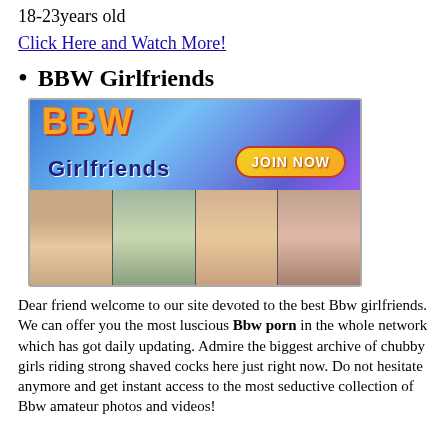18-23years old
Click Here and Watch More!
BBW Girlfriends
[Figure (screenshot): BBW Girlfriends website banner with logo, Join Now button, and thumbnail images of women]
Dear friend welcome to our site devoted to the best Bbw girlfriends. We can offer you the most luscious Bbw porn in the whole network which has got daily updating. Admire the biggest archive of chubby girls riding strong shaved cocks here just right now. Do not hesitate anymore and get instant access to the most seductive collection of Bbw amateur photos and videos!